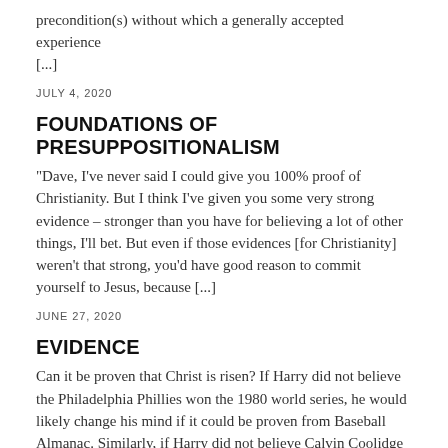precondition(s) without which a generally accepted experience [...]
JULY 4, 2020
FOUNDATIONS OF PRESUPPOSITIONALISM
“Dave, I’ve never said I could give you 100% proof of Christianity. But I think I’ve given you some very strong evidence – stronger than you have for believing a lot of other things, I’ll bet. But even if those evidences [for Christianity] weren’t that strong, you’d have good reason to commit yourself to Jesus, because [...]
JUNE 27, 2020
EVIDENCE
Can it be proven that Christ is risen? If Harry did not believe the Philadelphia Phillies won the 1980 world series, he would likely change his mind if it could be proven from Baseball Almanac. Similarly, if Harry did not believe Calvin Coolidge was the 30th